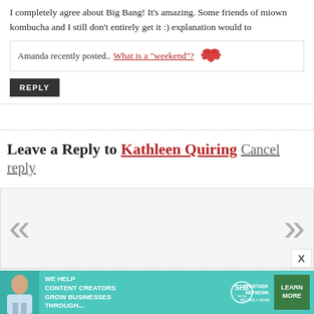I completely agree about Big Bang! It’s amazing. Some friends of mi... own kombucha and I still don’t entirely get it :) explanation would to...
Amanda recently posted.. What is a “weekend”?
REPLY
Leave a Reply to Kathleen Quiring Cancel reply
[Figure (screenshot): Comment form box with left and right chevron navigation arrows (« ») and a dashed border divider, light gray background input area]
[Figure (infographic): Advertisement banner: teal background, woman with laptop photo, text 'WE HELP CONTENT CREATORS GROW BUSINESSES THROUGH...', SHE Partner Network logo, green LEARN MORE button]